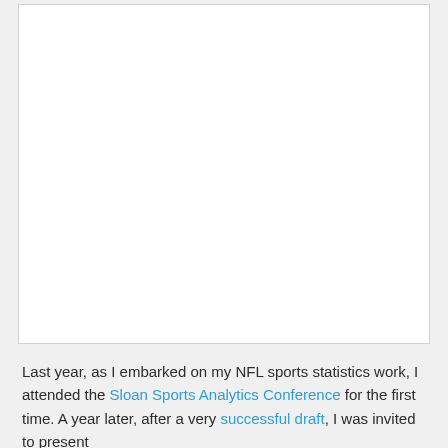[Figure (other): Large white rectangular image/content area at the top of the card, mostly blank white space.]
Last year, as I embarked on my NFL sports statistics work, I attended the Sloan Sports Analytics Conference for the first time. A year later, after a very successful draft, I was invited to present